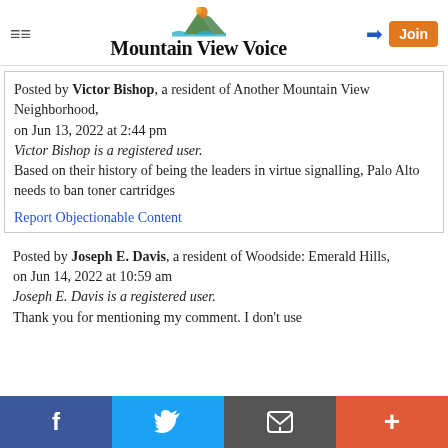Mountain View Voice
Posted by Victor Bishop, a resident of Another Mountain View Neighborhood,
on Jun 13, 2022 at 2:44 pm
Victor Bishop is a registered user.
Based on their history of being the leaders in virtue signalling, Palo Alto needs to ban toner cartridges
Report Objectionable Content
Posted by Joseph E. Davis, a resident of Woodside: Emerald Hills,
on Jun 14, 2022 at 10:59 am
Joseph E. Davis is a registered user.
Thank you for mentioning my comment. I don't use